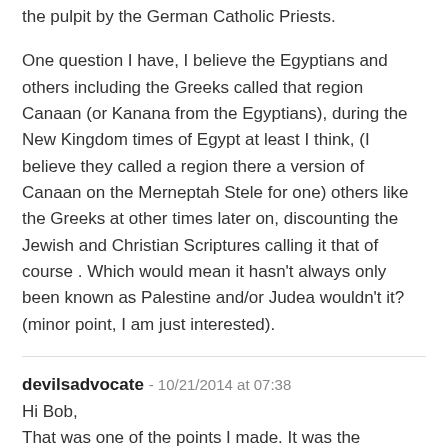the pulpit by the German Catholic Priests.
One question I have, I believe the Egyptians and others including the Greeks called that region Canaan (or Kanana from the Egyptians), during the New Kingdom times of Egypt at least I think, (I believe they called a region there a version of Canaan on the Merneptah Stele for one) others like the Greeks at other times later on, discounting the Jewish and Christian Scriptures calling it that of course . Which would mean it hasn't always only been known as Palestine and/or Judea wouldn't it? (minor point, I am just interested).
devilsadvocate - 10/21/2014 at 07:38
Hi Bob,
That was one of the points I made. It was the Romans who renamed that region Palestinia, before that it